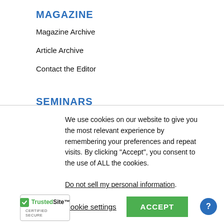MAGAZINE
Magazine Archive
Article Archive
Contact the Editor
SEMINARS
Discover Success
Trade Show
We use cookies on our website to give you the most relevant experience by remembering your preferences and repeat visits. By clicking “Accept”, you consent to the use of ALL the cookies.
Do not sell my personal information.
Cookie settings  ACCEPT